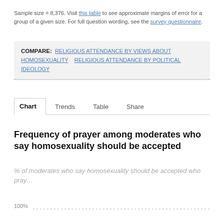Sample size = 8,376. Visit this table to see approximate margins of error for a group of a given size. For full question wording, see the survey questionnaire.
COMPARE: RELIGIOUS ATTENDANCE BY VIEWS ABOUT HOMOSEXUALITY   RELIGIOUS ATTENDANCE BY POLITICAL IDEOLOGY
Chart   Trends   Table   Share
Frequency of prayer among moderates who say homosexuality should be accepted
% of moderates who say homosexuality should be accepted who pray...
[Figure (bar-chart): Partial chart visible showing 100% gridline at bottom of page]